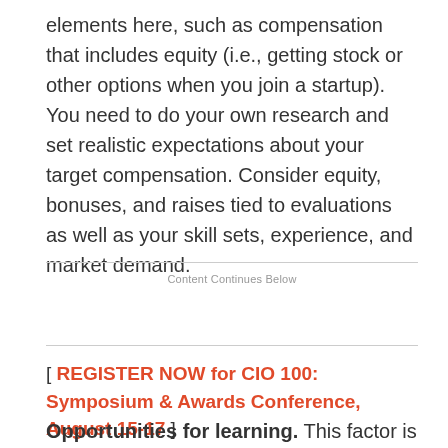elements here, such as compensation that includes equity (i.e., getting stock or other options when you join a startup). You need to do your own research and set realistic expectations about your target compensation. Consider equity, bonuses, and raises tied to evaluations as well as your skill sets, experience, and market demand.
Content Continues Below
[ REGISTER NOW for CIO 100: Symposium & Awards Conference, August 15-17 ]
Opportunities for learning. This factor is often